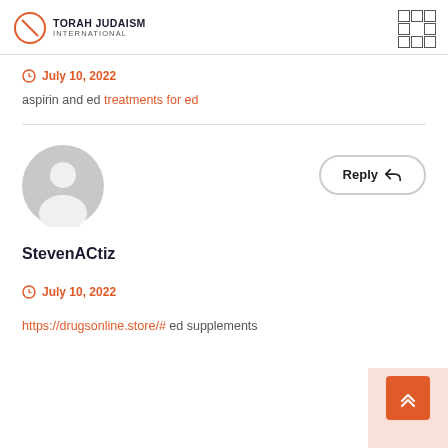TORAH JUDAISM INTERNATIONAL
July 10, 2022
aspirin and ed treatments for ed
[Figure (illustration): Default user avatar circle with person silhouette]
Reply
StevenACtiz
July 10, 2022
https://drugsonline.store/# ed supplements